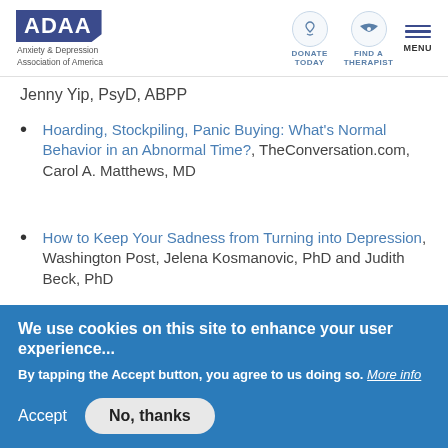[Figure (logo): ADAA logo with text 'Anxiety & Depression Association of America' and navigation icons for Donate Today, Find a Therapist, and Menu]
Jenny Yip, PsyD, ABPP
Hoarding, Stockpiling, Panic Buying: What's Normal Behavior in an Abnormal Time?, TheConversation.com, Carol A. Matthews, MD
How to Keep Your Sadness from Turning into Depression, Washington Post, Jelena Kosmanovic, PhD and Judith Beck, PhD
We use cookies on this site to enhance your user experience...
By tapping the Accept button, you agree to us doing so. More info
Accept
No, thanks